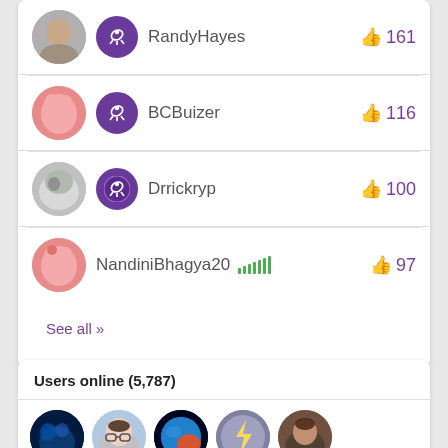RandyHayes 👍 161
BCBuizer 👍 116
Drrickryp 👍 100
NandiniBhagya20 👍 97
See all »
Users online (5,787)
[Figure (photo): Row of 5 circular user avatar photos for online users]